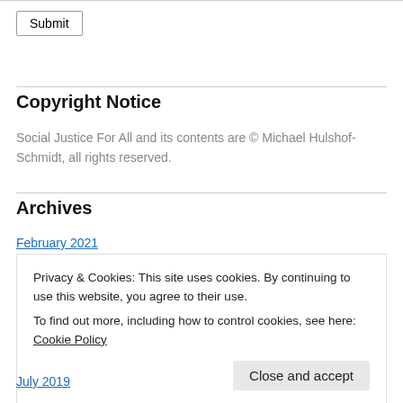Submit (button)
Copyright Notice
Social Justice For All and its contents are © Michael Hulshof-Schmidt, all rights reserved.
Archives
February 2021
Privacy & Cookies: This site uses cookies. By continuing to use this website, you agree to their use.
To find out more, including how to control cookies, see here: Cookie Policy
July 2019